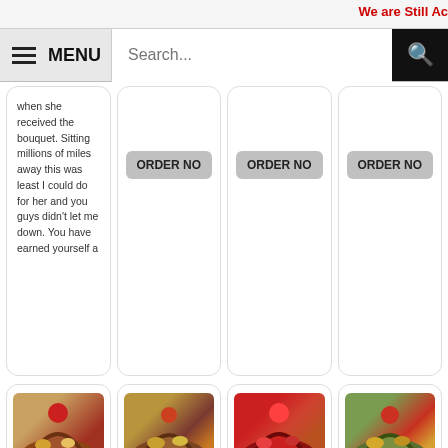We are Still Ac
≡ MENU
Search...
when she received the bouquet. Sitting millions of miles away this was least I could do for her and you guys didn't let me down. You have earned yourself a
ORDER NO
ORDER NO
ORDER NO
[Figure (photo): Gift basket FD-BASKET-8 with red bow and assorted items]
FD-BASKET-8
US $ 175
ORDER NO
[Figure (photo): Gift basket FD-BASKET-11 with red decorations and assorted snacks]
FD-BASKET-11
US $ 175
ORDER NO
[Figure (photo): Gift basket FD-BASKET-12 with red ribbons and holiday items]
FD-BASKET-12
US $ 175
ORDER NO
[Figure (photo): Gift basket FD-BASKET-10 with green and red holiday assortment]
FD-BASKET-10
US $ 175
ORDER NO